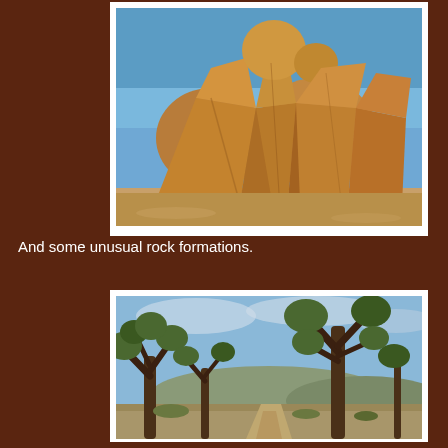[Figure (photo): Close-up photograph of unusual stacked and fractured sandstone/granite rock formations in a desert setting against a blue sky. The rocks are large, rounded and angular orange-brown boulders piled on top of each other.]
And some unusual rock formations.
[Figure (photo): Photograph of a dirt trail lined with Joshua trees (Yucca brevifolia) on both sides. The trees have twisted dark branches with spiky green foliage at the tips. The background shows hills and a blue sky with light clouds.]